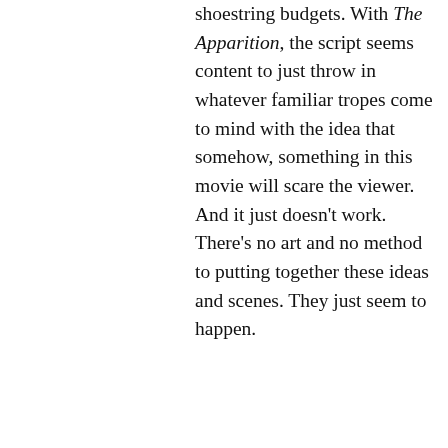shoestring budgets. With The Apparition, the script seems content to just throw in whatever familiar tropes come to mind with the idea that somehow, something in this movie will scare the viewer. And it just doesn't work. There's no art and no method to putting together these ideas and scenes. They just seem to happen.
[Figure (other): Green/teal triangular filter/funnel icon on left side]
[Figure (other): Circle with X close button on right side]
[Figure (other): HEADERBIDDING.COM advertisement banner with teal/blue gradient background, bold white text and subtitle 'Your source for all things programmatic advertising.' with X close button]
Of course, there is a
skin showing other than